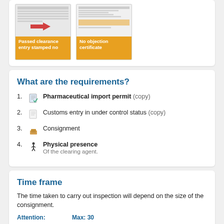[Figure (screenshot): Two document thumbnail images with orange labels: 'Passed clearance entry stamped no' and 'No objection certificate']
What are the requirements?
Pharmaceutical import permit (copy)
Customs entry in under control status (copy)
Consignment
Physical presence
Of the clearing agent.
Time frame
The time taken to carry out inspection will depend on the size of the consignment.
Attention: ...  Max: 30